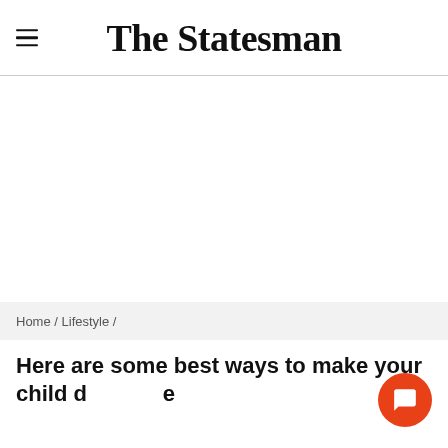The Statesman
[Figure (other): Advertisement/blank white area]
Home / Lifestyle /
Here are some best ways to make your child d…e